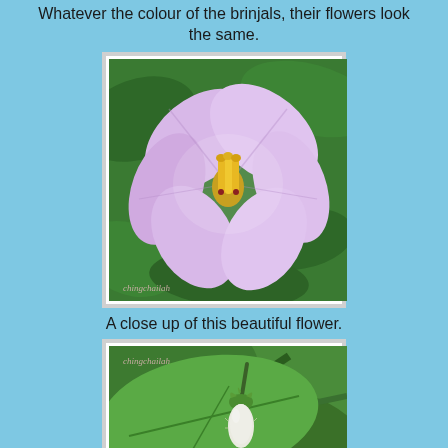Whatever the colour of the brinjals, their flowers look the same.
[Figure (photo): Close-up photograph of a light purple brinjal (eggplant) flower with yellow stamens against green foliage background, with watermark 'chingchailah']
A close up of this beautiful flower.
[Figure (photo): Photograph of a small white baby eggplant (brinjal) bud/fruit hanging from a plant with green leaves, with watermark 'chingchailah']